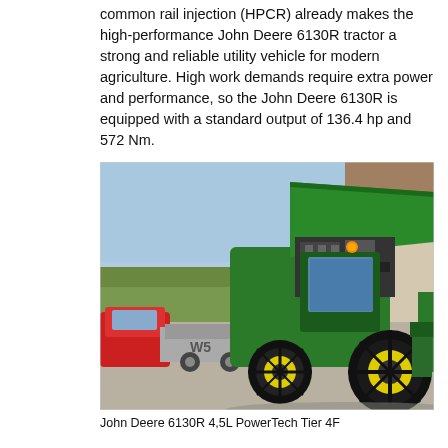common rail injection (HPCR) already makes the high-performance John Deere 6130R tractor a strong and reliable utility vehicle for modern agriculture. High work demands require extra power and performance, so the John Deere 6130R is equipped with a standard output of 136.4 hp and 572 Nm.
[Figure (photo): John Deere 6130R tractor with hood open, showing engine, yellow wheels, parked on gravel next to a farm building. A red car and trailer are visible on the left side.]
John Deere 6130R 4,5L PowerTech Tier 4F